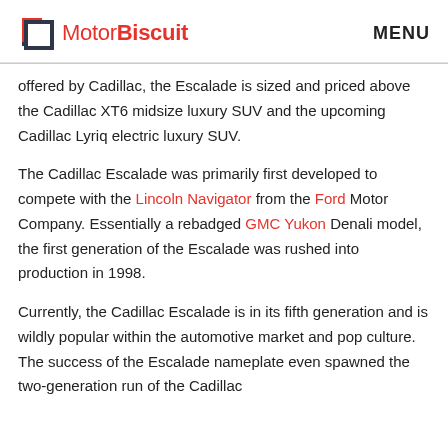MotorBiscuit   MENU
offered by Cadillac, the Escalade is sized and priced above the Cadillac XT6 midsize luxury SUV and the upcoming Cadillac Lyriq electric luxury SUV.
The Cadillac Escalade was primarily first developed to compete with the Lincoln Navigator from the Ford Motor Company. Essentially a rebadged GMC Yukon Denali model, the first generation of the Escalade was rushed into production in 1998.
Currently, the Cadillac Escalade is in its fifth generation and is wildly popular within the automotive market and pop culture. The success of the Escalade nameplate even spawned the two-generation run of the Cadillac